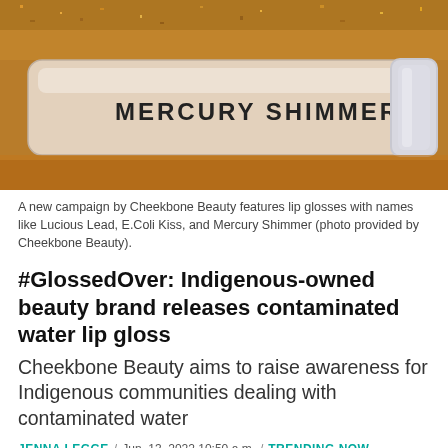[Figure (photo): Close-up photo of lip gloss tubes. One tube in the foreground has 'MERCURY SHIMMER' printed on it. Background tube has a glittery amber/orange color. Photo provided by Cheekbone Beauty.]
A new campaign by Cheekbone Beauty features lip glosses with names like Lucious Lead, E.Coli Kiss, and Mercury Shimmer (photo provided by Cheekbone Beauty).
#GlossedOver: Indigenous-owned beauty brand releases contaminated water lip gloss
Cheekbone Beauty aims to raise awareness for Indigenous communities dealing with contaminated water
JENNA LEGGE / Jun. 13, 2022 10:50 a.m. / TRENDING NOW
[Figure (other): Social media sharing icon buttons: Facebook (blue), Twitter (blue), Reddit (orange), Email (grey), and other sharing icons (grey). A scroll-to-top button (grey circle with up arrow) on the far right.]